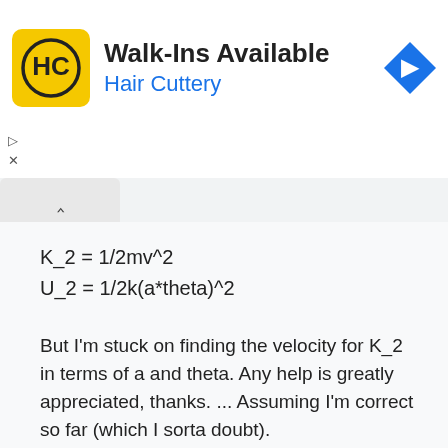[Figure (other): Hair Cuttery advertisement banner with yellow HC logo, 'Walk-Ins Available' heading and blue turn-right navigation diamond icon]
But I'm stuck on finding the velocity for K_2 in terms of a and theta. Any help is greatly appreciated, thanks. ... Assuming I'm correct so far (which I sorta doubt).
Attachments
[Figure (photo): Partial photo of a mechanical engineering component (spring/gear mechanism) shown as an attachment thumbnail]